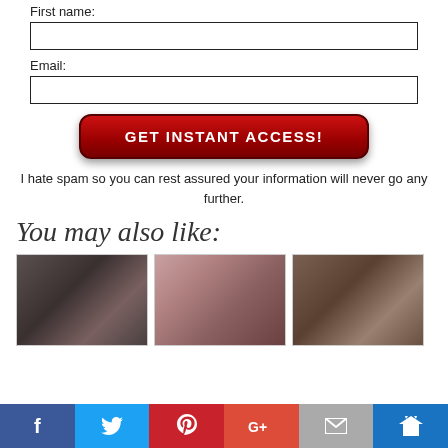First name:
Email:
[Figure (other): Red button labeled GET INSTANT ACCESS!]
I hate spam so you can rest assured your information will never go any further.
You may also like:
[Figure (photo): Three thumbnail photos showing children and a person]
[Figure (other): Social media share bar with Facebook, Twitter, Pinterest, Google+, Email, and Crown icons]